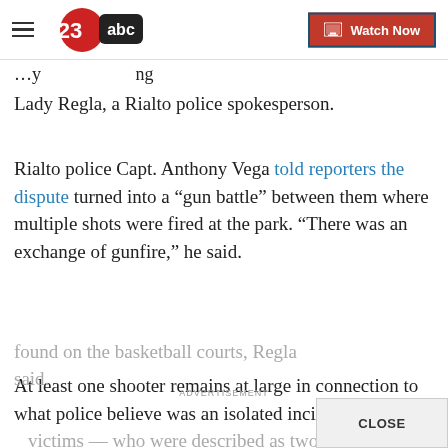23abc | Watch Now
Lady Regla, a Rialto police spokesperson.
Rialto police Capt. Anthony Vega told reporters the dispute turned into a “gun battle” between them where multiple shots were fired at the park. “There was an exchange of gunfire,” he said.
At least one shooter remains at large in connection to what police believe was an isolated incident. The victims — who were described as two males — w... found on the basketball courts, Regla said.